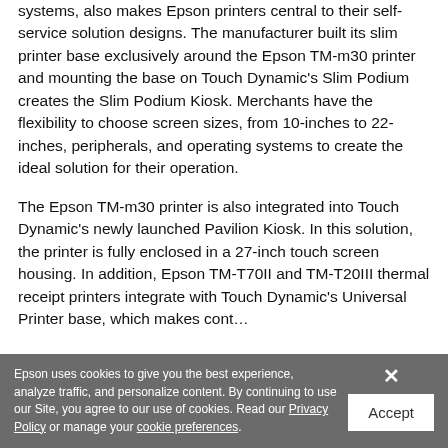systems, also makes Epson printers central to their self-service solution designs. The manufacturer built its slim printer base exclusively around the Epson TM-m30 printer and mounting the base on Touch Dynamic's Slim Podium creates the Slim Podium Kiosk. Merchants have the flexibility to choose screen sizes, from 10-inches to 22-inches, peripherals, and operating systems to create the ideal solution for their operation.
The Epson TM-m30 printer is also integrated into Touch Dynamic's newly launched Pavilion Kiosk. In this solution, the printer is fully enclosed in a 27-inch touch screen housing. In addition, Epson TM-T70II and TM-T20III thermal receipt printers integrate with Touch Dynamic's Universal Printer base, which makes...
Epson uses cookies to give you the best experience, analyze traffic, and personalize content. By continuing to use our Site, you agree to our use of cookies. Read our Privacy Policy or manage your cookie preferences.